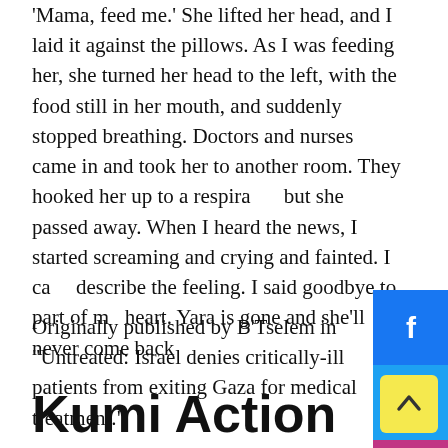'Mama, feed me.' She lifted her head, and I laid it against the pillows. As I was feeding her, she turned her head to the left, with the food still in her mouth, and suddenly stopped breathing. Doctors and nurses came in and took her to another room. They hooked her up to a respirator, but she passed away. When I heard the news, I started screaming and crying and fainted. I can't describe the feeling. I said goodbye to part of my heart. Yara is gone and she'll never come back.
Originally published by B'Tselem in "Untreated: Israel denies critically-ill patients from exiting Gaza for medical treatment."
Kumi Action